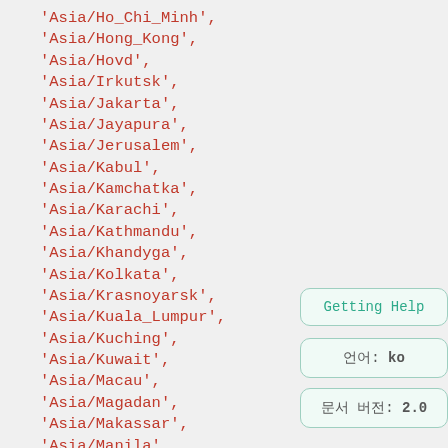'Asia/Ho_Chi_Minh',
'Asia/Hong_Kong',
'Asia/Hovd',
'Asia/Irkutsk',
'Asia/Jakarta',
'Asia/Jayapura',
'Asia/Jerusalem',
'Asia/Kabul',
'Asia/Kamchatka',
'Asia/Karachi',
'Asia/Kathmandu',
'Asia/Khandyga',
'Asia/Kolkata',
'Asia/Krasnoyarsk',
'Asia/Kuala_Lumpur',
'Asia/Kuching',
'Asia/Kuwait',
'Asia/Macau',
'Asia/Magadan',
'Asia/Makassar',
'Asia/Manila',
'Asia/Muscat',
Getting Help
언어: ko
문서 버전: 2.0